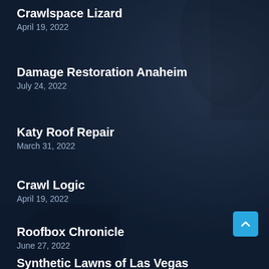Crawlspace Lizard
April 19, 2022
Damage Restoration Anaheim
July 24, 2022
Katy Roof Repair
March 31, 2022
Crawl Logic
April 19, 2022
Roofbox Chronicle
June 27, 2022
Synthetic Lawns of Las Vegas